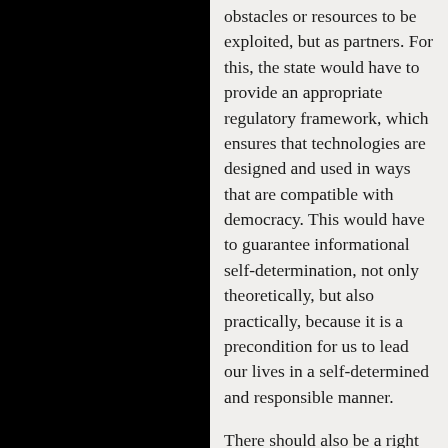obstacles or resources to be exploited, but as partners. For this, the state would have to provide an appropriate regulatory framework, which ensures that technologies are designed and used in ways that are compatible with democracy. This would have to guarantee informational self-determination, not only theoretically, but also practically, because it is a precondition for us to lead our lives in a self-determined and responsible manner.
There should also be a right to get a copy of personal data collected about us. It should be